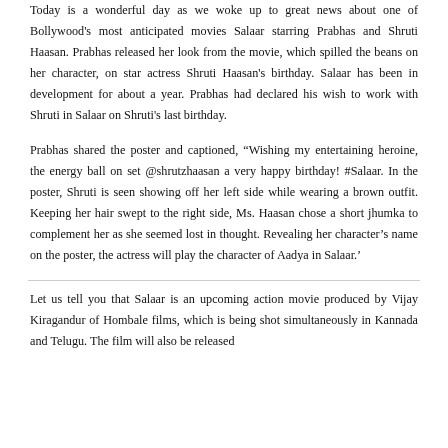Today is a wonderful day as we woke up to great news about one of Bollywood's most anticipated movies Salaar starring Prabhas and Shruti Haasan. Prabhas released her look from the movie, which spilled the beans on her character, on star actress Shruti Haasan's birthday. Salaar has been in development for about a year. Prabhas had declared his wish to work with Shruti in Salaar on Shruti's last birthday.
Prabhas shared the poster and captioned, “Wishing my entertaining heroine, the energy ball on set @shrutzhaasan a very happy birthday! #Salaar. In the poster, Shruti is seen showing off her left side while wearing a brown outfit. Keeping her hair swept to the right side, Ms. Haasan chose a short jhumka to complement her as she seemed lost in thought. Revealing her character’s name on the poster, the actress will play the character of Aadya in Salaar.’
Let us tell you that Salaar is an upcoming action movie produced by Vijay Kiragandur of Hombale films, which is being shot simultaneously in Kannada and Telugu. The film will also be released